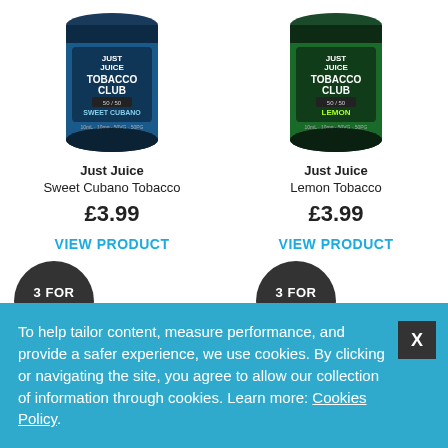[Figure (photo): Just Juice Tobacco Club Sweet Cubano product can with blue/dark design]
[Figure (photo): Just Juice Tobacco Club Lemon product can with green/dark design]
Just Juice
Sweet Cubano Tobacco
£3.99
VIEW PRODUCT
Just Juice
Lemon Tobacco
£3.99
VIEW PRODUCT
[Figure (infographic): Dark circular badge with white text: 3 FOR £9.99]
[Figure (infographic): Dark circular badge with white text: 3 FOR £9.99]
LOADING
LOADING
To help tailor content, measure performance, and provide a safer experience, we use cookies. By clicking or navigating the site, you agree to allow our collection of information through cookies. Learn more: Cookies Policy.